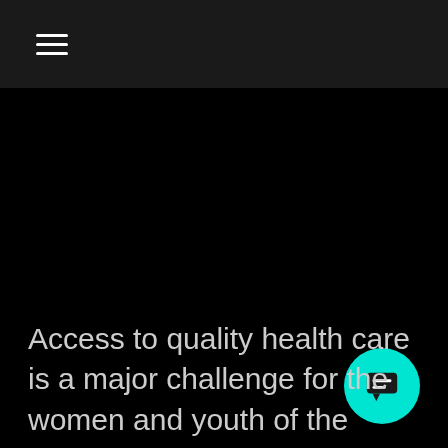≡
[Figure (screenshot): Black background area representing a video or image placeholder in a mobile web page layout]
Access to quality health care is a major challenge for the women and youth of the